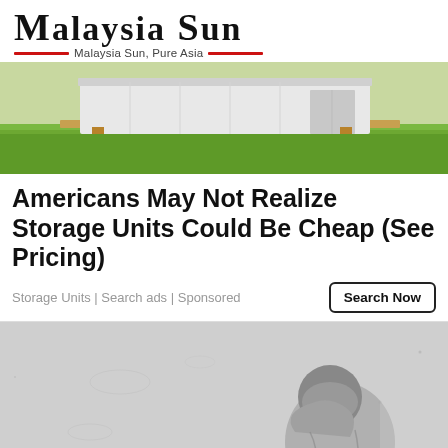Malaysia Sun — Malaysia Sun, Pure Asia
[Figure (photo): Outdoor photo of a portable storage shed/unit on grass]
Americans May Not Realize Storage Units Could Be Cheap (See Pricing)
Storage Units | Search ads | Sponsored
[Figure (photo): Black and white photo of a person sitting against a wall, head in hands, appearing distressed]